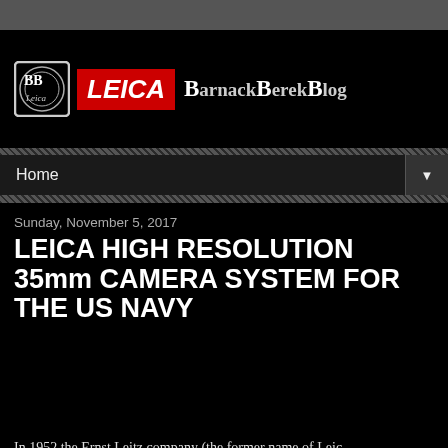[Figure (logo): Leica BarnackBerekBlog website header logo with BB emblem, LEICA red box, and blog title text]
Home ▼
Sunday, November 5, 2017
LEICA HIGH RESOLUTION 35mm CAMERA SYSTEM FOR THE US NAVY
In 1952 the Ernst Leitz company (the former name of Leica) Midland, Ontario, Canada. The company was called Er...